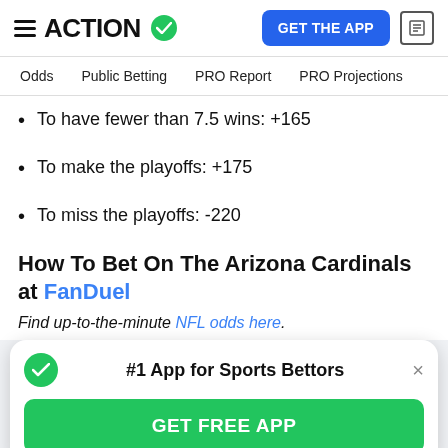ACTION | GET THE APP
Odds | Public Betting | PRO Report | PRO Projections
To have fewer than 7.5 wins: +165
To make the playoffs: +175
To miss the playoffs: -220
How To Bet On The Arizona Cardinals at FanDuel
Find up-to-the-minute NFL odds here.
[Figure (infographic): Promotional popup card: '#1 App for Sports Bettors' with a green checkmark icon, a close (x) button, and a green 'GET FREE APP' button.]
To finish second in the NFC West: +450